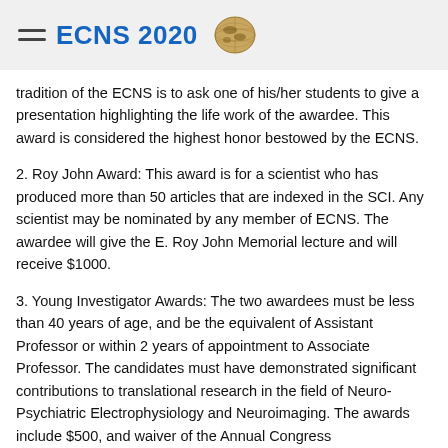ECNS 2020
tradition of the ECNS is to ask one of his/her students to give a presentation highlighting the life work of the awardee. This award is considered the highest honor bestowed by the ECNS.
2. Roy John Award: This award is for a scientist who has produced more than 50 articles that are indexed in the SCI. Any scientist may be nominated by any member of ECNS. The awardee will give the E. Roy John Memorial lecture and will receive $1000.
3. Young Investigator Awards: The two awardees must be less than 40 years of age, and be the equivalent of Assistant Professor or within 2 years of appointment to Associate Professor. The candidates must have demonstrated significant contributions to translational research in the field of Neuro-Psychiatric Electrophysiology and Neuroimaging. The awards include $500, and waiver of the Annual Congress